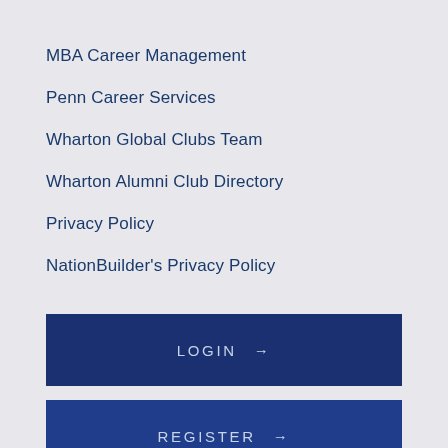MBA Career Management
Penn Career Services
Wharton Global Clubs Team
Wharton Alumni Club Directory
Privacy Policy
NationBuilder's Privacy Policy
LOGIN →
REGISTER →